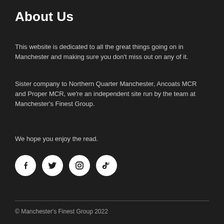About Us
This website is dedicated to all the great things going on in Manchester and making sure you don't miss out on any of it.
Sister company to Northern Quarter Manchester, Ancoats MCR and Proper MCR, we're an independent site run by the team at Manchester's Finest Group.
We hope you enjoy the read.
[Figure (illustration): Four social media icons in white circles: Facebook, Twitter, Instagram, TikTok]
© Manchester's Finest Group 2022